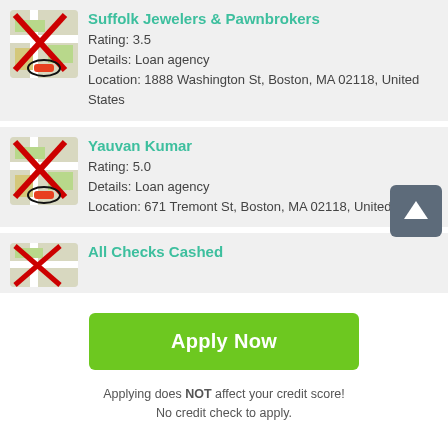[Figure (screenshot): Card showing Suffolk Jewelers & Pawnbrokers listing with map thumbnail (crossed out), rating 3.5, loan agency details, and Boston MA address]
[Figure (screenshot): Card showing Yauvan Kumar listing with map thumbnail (crossed out), rating 5.0, loan agency details, and Boston MA address]
[Figure (screenshot): Partial card showing All Checks Cashed listing with partial map thumbnail]
Apply Now
Applying does NOT affect your credit score! No credit check to apply.